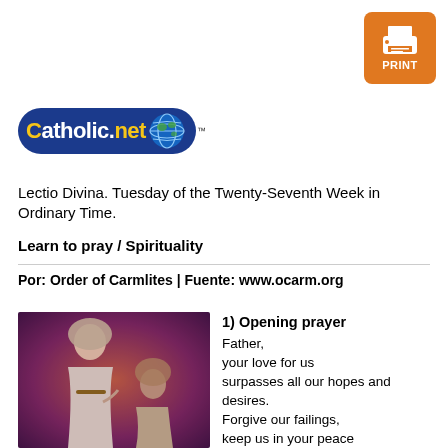[Figure (logo): Print button - orange square with printer icon and PRINT label]
[Figure (logo): Catholic.net logo - blue oval with globe icon]
Lectio Divina. Tuesday of the Twenty-Seventh Week in Ordinary Time.
Learn to pray / Spirituality
Por: Order of Carmlites | Fuente: www.ocarm.org
[Figure (illustration): Religious illustration showing two robed figures, one appearing to be praying or speaking]
1) Opening prayer
Father,
your love for us
surpasses all our hopes and desires.
Forgive our failings,
keep us in your peace
and lead us in the way of salvation.
We ask this through our Lord